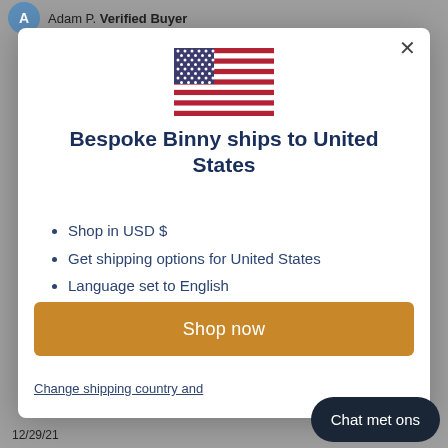Adam P. Verified Buyer
[Figure (illustration): US flag emoji/icon centered at top of modal]
Bespoke Binny ships to United States
Shop in USD $
Get shipping options for United States
Language set to English
Shop now
Change shipping country and
Chat met ons
12/29/21